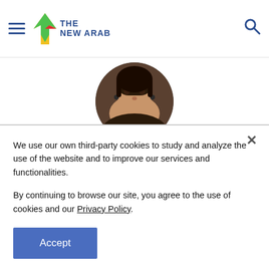THE NEW ARAB
[Figure (photo): Circular headshot photo of author Tasnima Uddin]
Tasnima Uddin
Why targeting Apsana Begum is an attack on the many
We use our own third-party cookies to study and analyze the use of the website and to improve our services and functionalities.

By continuing to browse our site, you agree to the use of cookies and our Privacy Policy.
Accept